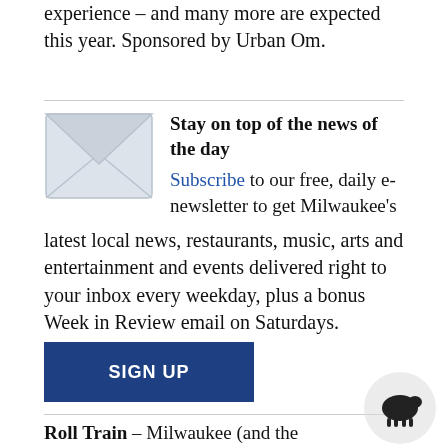experience – and many more are expected this year. Sponsored by Urban Om.
[Figure (illustration): Envelope icon representing email newsletter subscription]
Stay on top of the news of the day
Subscribe to our free, daily e-newsletter to get Milwaukee's latest local news, restaurants, music, arts and entertainment and events delivered right to your inbox every weekday, plus a bonus Week in Review email on Saturdays.
SIGN UP
Roll Train – Milwaukee (and the East Side) is